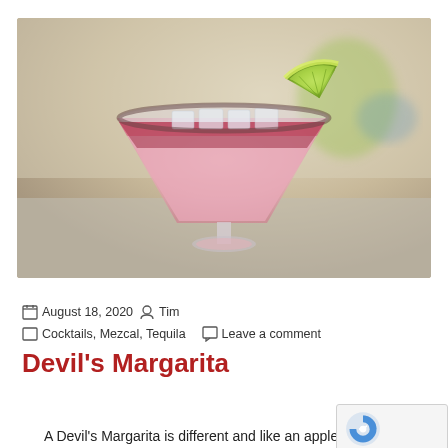[Figure (photo): A pink Devil's Margarita cocktail in a wide margarita glass with ice cubes and a lime wedge garnish on the rim, photographed on a blurred background.]
August 18, 2020   Tim
Cocktails, Mezcal, Tequila   Leave a comment
Devil's Margarita
A Devil's Margarita is different and like an apple in the